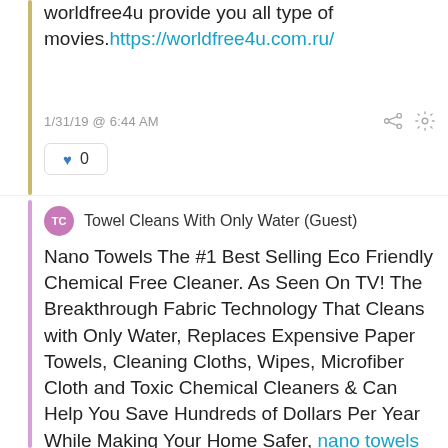worldfree4u provide you all type of movies. https://worldfree4u.com.ru/
1/31/19 @ 6:44 AM
♥ 0
TC Towel Cleans With Only Water (Guest)
Nano Towels The #1 Best Selling Eco Friendly Chemical Free Cleaner. As Seen On TV! The Breakthrough Fabric Technology That Cleans with Only Water, Replaces Expensive Paper Towels, Cleaning Cloths, Wipes, Microfiber Cloth and Toxic Chemical Cleaners & Can Help You Save Hundreds of Dollars Per Year While Making Your Home Safer, nano towels